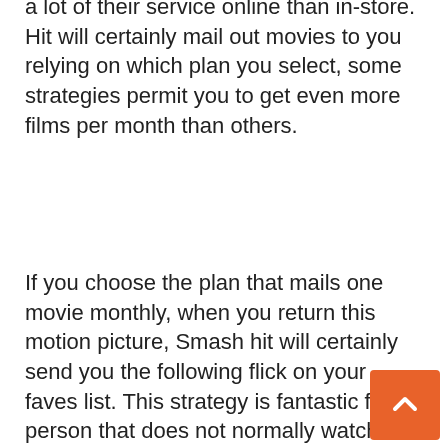a lot of their service online than in-store. Hit will certainly mail out movies to you relying on which plan you select, some strategies permit you to get even more films per month than others.
If you choose the plan that mails one movie monthly, when you return this motion picture, Smash hit will certainly send you the following flick on your faves list. This strategy is fantastic for a person that does not normally watch a great deal of flicks. All their plans work in in this manner.
Netflix also provides a number of plans to pick from. Their strategies are similar to Smash hit as well as use a series of motion pictures comparable to Blockbuster. Both are terrific